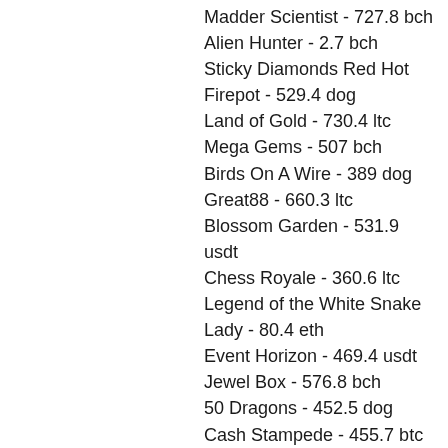Madder Scientist - 727.8 bch
Alien Hunter - 2.7 bch
Sticky Diamonds Red Hot Firepot - 529.4 dog
Land of Gold - 730.4 ltc
Mega Gems - 507 bch
Birds On A Wire - 389 dog
Great88 - 660.3 ltc
Blossom Garden - 531.9 usdt
Chess Royale - 360.6 ltc
Legend of the White Snake Lady - 80.4 eth
Event Horizon - 469.4 usdt
Jewel Box - 576.8 bch
50 Dragons - 452.5 dog
Cash Stampede - 455.7 btc
Best Slots Games:
Bitcasino.io Cold Cash
1xBit Casino Hot 27
Syndicate Casino Flying Horse
OneHash Chinese Kitchen